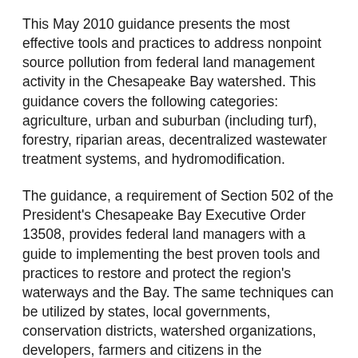This May 2010 guidance presents the most effective tools and practices to address nonpoint source pollution from federal land management activity in the Chesapeake Bay watershed. This guidance covers the following categories: agriculture, urban and suburban (including turf), forestry, riparian areas, decentralized wastewater treatment systems, and hydromodification.
The guidance, a requirement of Section 502 of the President's Chesapeake Bay Executive Order 13508, provides federal land managers with a guide to implementing the best proven tools and practices to restore and protect the region's waterways and the Bay. The same techniques can be utilized by states, local governments, conservation districts, watershed organizations, developers, farmers and citizens in the Chesapeake Bay watershed.